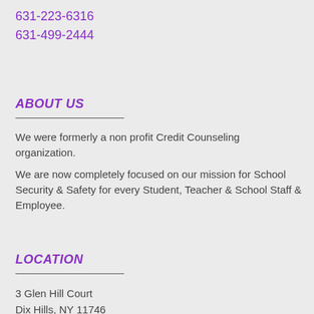631-223-6316
631-499-2444
ABOUT US
We were formerly a non profit Credit Counseling organization.
We are now completely focused on our mission for School Security & Safety for every Student, Teacher & School Staff & Employee.
LOCATION
3 Glen Hill Court
Dix Hills, NY 11746